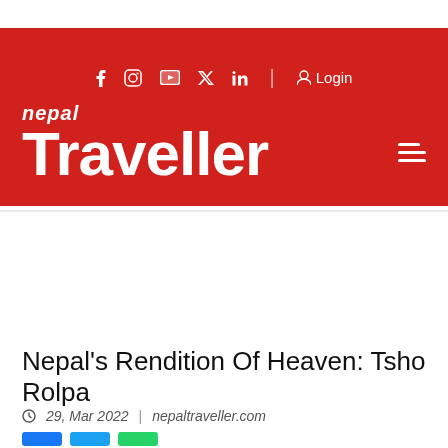Nepal Traveller — f IG YT Twitter LinkedIn | Login
[Figure (logo): Nepal Traveller magazine logo in white text on red background with social media icons and hamburger menu]
[Figure (infographic): Nepal Telecom App advertisement banner — blue background with yellow/white text reading NEPAL TELECOM APP, Google Play and App Store badges, Nepal Telecom circular logo on right]
Nepal's Rendition Of Heaven: Tsho Rolpa
29, Mar 2022  |  nepaltraveller.com